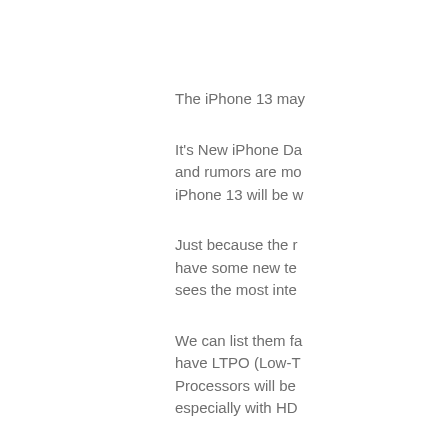The iPhone 13 may
It's New iPhone Da and rumors are mo iPhone 13 will be w
Just because the r have some new te sees the most inte
We can list them fa have LTPO (Low-T Processors will be especially with HD
All those specificat